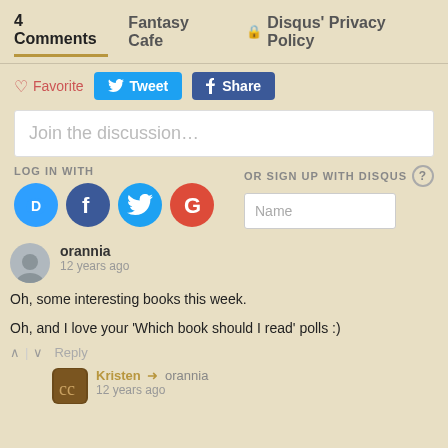4 Comments | Fantasy Cafe | Disqus' Privacy Policy
Favorite | Tweet | Share
Join the discussion…
LOG IN WITH | OR SIGN UP WITH DISQUS
[Figure (screenshot): Social login icons: Disqus (D), Facebook (f), Twitter bird, Google (G), and a Name input field]
orannia
12 years ago
Oh, some interesting books this week.

Oh, and I love your 'Which book should I read' polls :)
Reply
Kristen → orannia
12 years ago